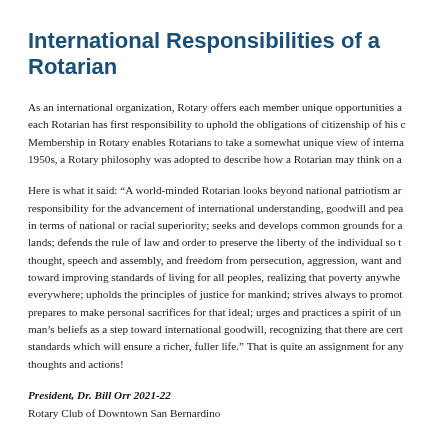International Responsibilities of a Rotarian
As an international organization, Rotary offers each member unique opportunities a... each Rotarian has first responsibility to uphold the obligations of citizenship of his c... Membership in Rotary enables Rotarians to take a somewhat unique view of interna... 1950s, a Rotary philosophy was adopted to describe how a Rotarian may think on a...
Here is what it said: “A world-minded Rotarian looks beyond national patriotism ar... responsibility for the advancement of international understanding, goodwill and pea... in terms of national or racial superiority; seeks and develops common grounds for a... lands; defends the rule of law and order to preserve the liberty of the individual so t... thought, speech and assembly, and freedom from persecution, aggression, want and... toward improving standards of living for all peoples, realizing that poverty anywher... everywhere; upholds the principles of justice for mankind; strives always to promot... prepares to make personal sacrifices for that ideal; urges and practices a spirit of un... man’s beliefs as a step toward international goodwill, recognizing that there are cert... standards which will ensure a richer, fuller life.” That is quite an assignment for any... thoughts and actions!
President, Dr. Bill Orr 2021-22
Rotary Club of Downtown San Bernardino